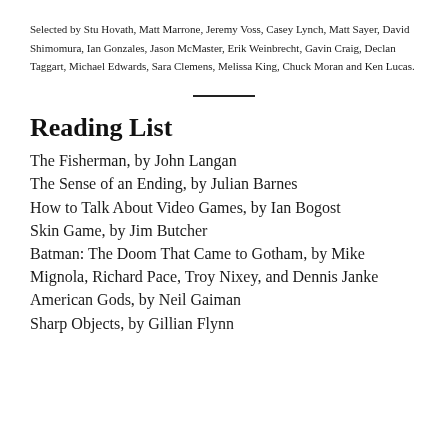Selected by Stu Hovath, Matt Marrone, Jeremy Voss, Casey Lynch, Matt Sayer, David Shimomura, Ian Gonzales, Jason McMaster, Erik Weinbrecht, Gavin Craig, Declan Taggart, Michael Edwards, Sara Clemens, Melissa King, Chuck Moran and Ken Lucas.
Reading List
The Fisherman, by John Langan
The Sense of an Ending, by Julian Barnes
How to Talk About Video Games, by Ian Bogost
Skin Game, by Jim Butcher
Batman: The Doom That Came to Gotham, by Mike Mignola, Richard Pace, Troy Nixey, and Dennis Janke
American Gods, by Neil Gaiman
Sharp Objects, by Gillian Flynn